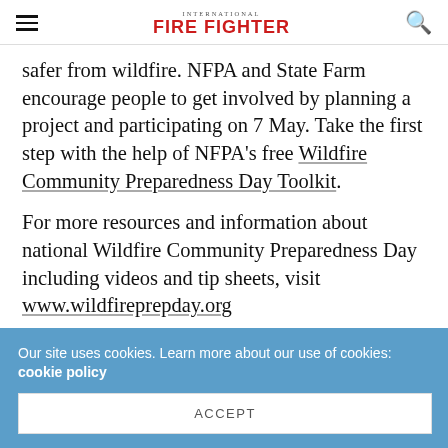INTERNATIONAL FIRE FIGHTER
safer from wildfire. NFPA and State Farm encourage people to get involved by planning a project and participating on 7 May. Take the first step with the help of NFPA’s free Wildfire Community Preparedness Day Toolkit.
For more resources and information about national Wildfire Community Preparedness Day including videos and tip sheets, visit www.wildfireprepday.org
Share this:
Our site uses cookies. Learn more about our use of cookies: cookie policy
ACCEPT